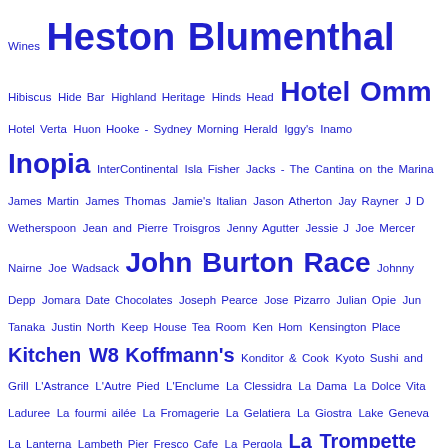Wines Heston Blumenthal Hibiscus Hide Bar Highland Heritage Hinds Head Hotel Omm Hotel Verta Huon Hooke - Sydney Morning Herald Iggy's Inamo Inopia InterContinental Isla Fisher Jacks - The Cantina on the Marina James Martin James Thomas Jamie's Italian Jason Atherton Jay Rayner J D Wetherspoon Jean and Pierre Troisgros Jenny Agutter Jessie J Joe Mercer Nairne Joe Wadsack John Burton Race Johnny Depp Jomara Date Chocolates Joseph Pearce Jose Pizarro Julian Opie Jun Tanaka Justin North Keep House Tea Room Ken Hom Kensington Place Kitchen W8 Koffmann's Konditor & Cook Kyoto Sushi and Grill L'Astrance L'Autre Pied L'Enclume La Clessidra La Dama La Dolce Vita Laduree La fourmi ailée La Fromagerie La Gelatiera La Giostra Lake Geneva La Lanterna Lambeth Pier Fresco Cafe La Pergola La Trompette Lauden Launceston Place Lausanne Le Bristol Le Manoir Aux Quat'Saison Le Meridien Le Pain Quotidien Le Pont de la Tour Le Weekend Little Polka Cafe Little Ships Loire Valley London Bridge